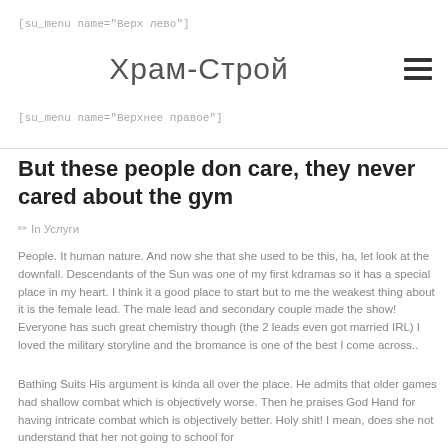[su_menu name="Верх лево"]
Храм-Строй
[su_menu name="Верхнее правое"]
But these people don care, they never cared about the gym
✏ In Услуги
People. It human nature. And now she that she used to be this, ha, let look at the downfall. Descendants of the Sun was one of my first kdramas so it has a special place in my heart. I think it a good place to start but to me the weakest thing about it is the female lead. The male lead and secondary couple made the show! Everyone has such great chemistry though (the 2 leads even got married IRL) I loved the military storyline and the bromance is one of the best I come across..
Bathing Suits His argument is kinda all over the place. He admits that older games had shallow combat which is objectively worse. Then he praises God Hand for having intricate combat which is objectively better. Holy shit! I mean, does she not understand that her not going to school for